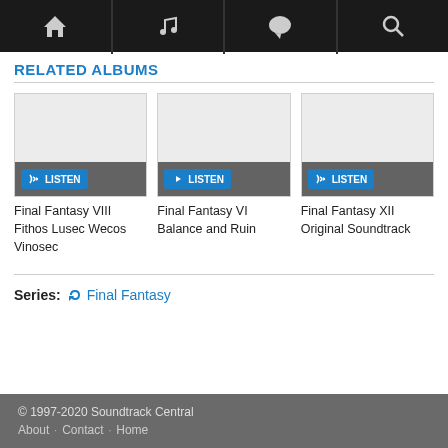Navigation bar with home, music, chat, search icons
RELATED ALBUMS
[Figure (screenshot): Album card for Final Fantasy VIII Fithos Lusec Wecos Vinosec with grey placeholder image and LISTEN button]
Final Fantasy VIII Fithos Lusec Wecos Vinosec
[Figure (screenshot): Album card for Final Fantasy VI Balance and Ruin with grey placeholder image and LISTEN button]
Final Fantasy VI Balance and Ruin
[Figure (screenshot): Album card for Final Fantasy XII Original Soundtrack with grey placeholder image and LISTEN button]
Final Fantasy XII Original Soundtrack
Series: Final Fantasy
© 1997-2020 Soundtrack Central
About · Contact · Home